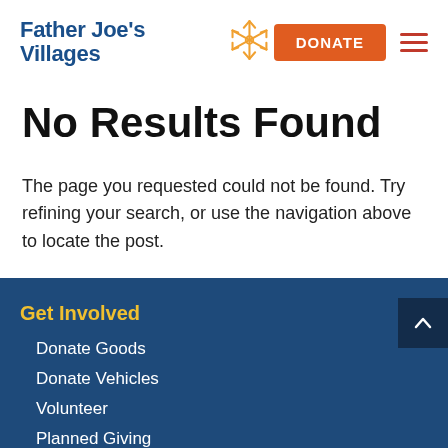Father Joe's Villages — DONATE
No Results Found
The page you requested could not be found. Try refining your search, or use the navigation above to locate the post.
Get Involved
Donate Goods
Donate Vehicles
Volunteer
Planned Giving